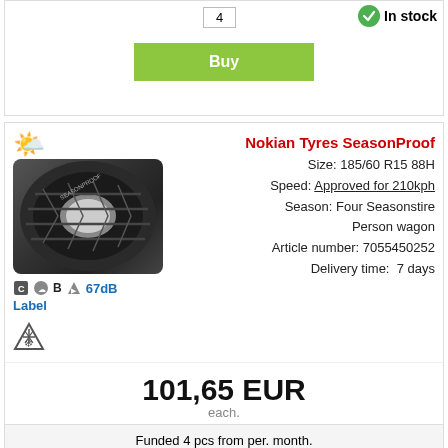4
In stock
Buy
[Figure (photo): Nokian SeasonProof tyre with all-season weather icon]
C  B  67dB
Label
Nokian Tyres SeasonProof
Size: 185/60 R15 88H
Speed: Approved for 210kph
Season: Four Seasonstire
Person wagon
Article number: 7055450252
Delivery time: 7 days
101,65 EUR
each.
Funded 4 pcs from per. month.
10,98 EUR
4
0
Contact
In stock